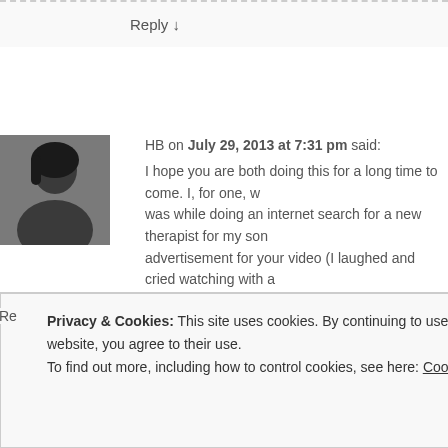Reply ↓
HB on July 29, 2013 at 7:31 pm said:
I hope you are both doing this for a long time to come. I, for one, was while doing an internet search for a new therapist for my son advertisement for your video (I laughed and cried watching with a watched Its Not About the Nail and couldnt stop laughing. I made my husband up though he usually gets annoyed whenever I ask him to "check this out." No at my daughter's tutoring center where all the other parents like me were hiding so I said, "I'm seriously asking where they are?" She didn't know what to say, p
Re
Privacy & Cookies: This site uses cookies. By continuing to use this website, you agree to their use.
To find out more, including how to control cookies, see here: Cookie Policy
Close and accept